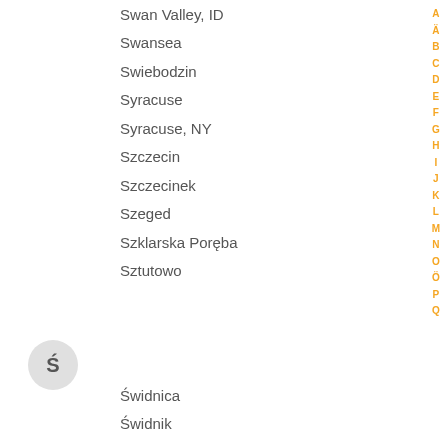Swan Valley, ID
Swansea
Swiebodzin
Syracuse
Syracuse, NY
Szczecin
Szczecinek
Szeged
Szklarska Poręba
Sztutowo
Świdnica
Świdnik